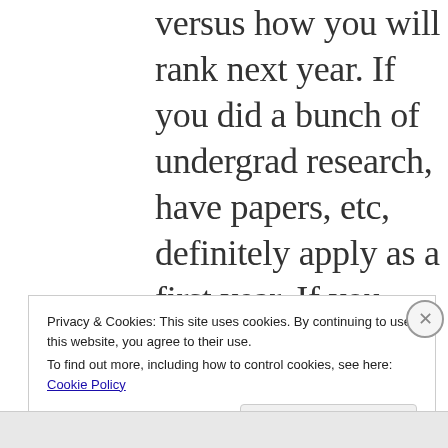versus how you will rank next year. If you did a bunch of undergrad research, have papers, etc, definitely apply as a first year. If you didn't, it might payoff to wait
Privacy & Cookies: This site uses cookies. By continuing to use this website, you agree to their use.
To find out more, including how to control cookies, see here: Cookie Policy
Close and accept